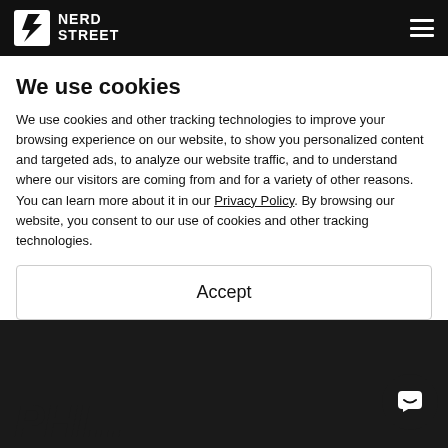Nerd Street
FIRST ESPORTS CAMPUS IN PHILADELPHIA,
We use cookies
We use cookies and other tracking technologies to improve your browsing experience on our website, to show you personalized content and targeted ads, to analyze our website traffic, and to understand where our visitors are coming from and for a variety of other reasons. You can learn more about it in our Privacy Policy. By browsing our website, you consent to our use of cookies and other tracking technologies.
Accept